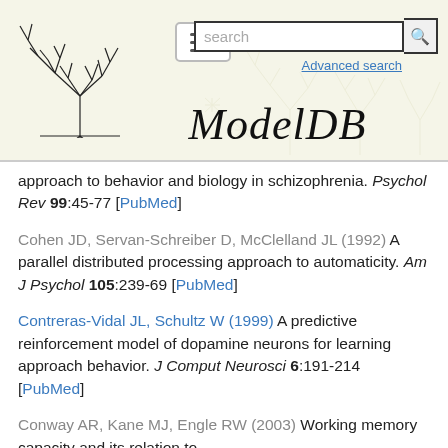[Figure (screenshot): ModelDB website header with logo (neuron tree), hamburger menu, search bar, Advanced search link, and ModelDB italic title on a light beige background with faint neuron tree watermarks.]
approach to behavior and biology in schizophrenia. Psychol Rev 99:45-77 [PubMed]
Cohen JD, Servan-Schreiber D, McClelland JL (1992) A parallel distributed processing approach to automaticity. Am J Psychol 105:239-69 [PubMed]
Contreras-Vidal JL, Schultz W (1999) A predictive reinforcement model of dopamine neurons for learning approach behavior. J Comput Neurosci 6:191-214 [PubMed]
Conway AR, Kane MJ, Engle RW (2003) Working memory capacity and its relation to